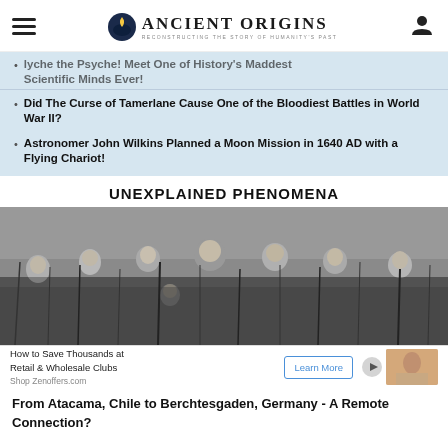Ancient Origins — Reconstructing the Story of Humanity's Past
lyche the Psyche! Meet One of History's Maddest Scientific Minds Ever!
Did The Curse of Tamerlane Cause One of the Bloodiest Battles in World War II?
Astronomer John Wilkins Planned a Moon Mission in 1640 AD with a Flying Chariot!
UNEXPLAINED PHENOMENA
[Figure (photo): Black and white photograph of a group of people partially hidden in tall grass or foliage, only their faces visible]
How to Save Thousands at Retail & Wholesale Clubs Shop Zenoffers.com — Learn More [advertisement]
From Atacama, Chile to Berchtesgaden, Germany - A Remote Connection?